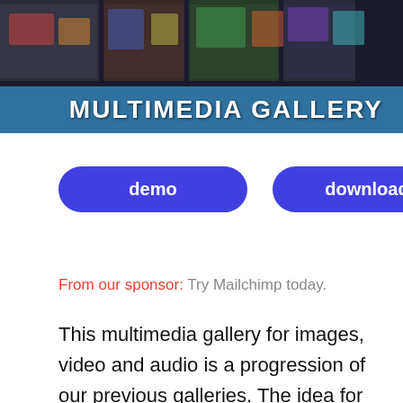[Figure (photo): Banner image showing a multimedia gallery with photo thumbnails arranged in a dark background, overlaid with a blue banner reading MULTIMEDIA GALLERY in white bold uppercase text]
demo
download
From our sponsor: Try Mailchimp today.
This multimedia gallery for images, video and audio is a progression of our previous galleries. The idea for this new gallery is to integrate video and audio as exhibit pieces